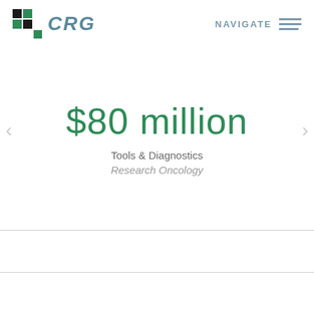CRG  NAVIGATE
$80 million
Tools & Diagnostics
Research Oncology